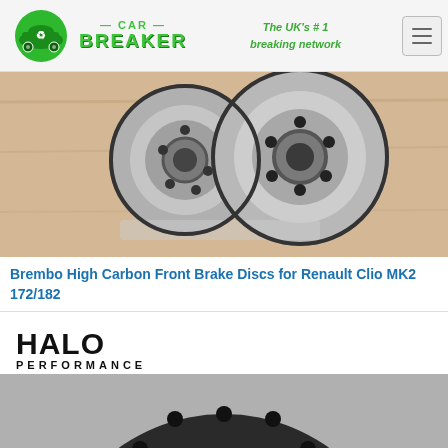— CAR — BREAKER — The UK's #1 breaking network
[Figure (photo): Two Brembo high carbon front brake discs photographed on a wooden surface]
Brembo High Carbon Front Brake Discs for Renault Clio MK2 172/182
[Figure (logo): HALO PERFORMANCE logo in black text]
[Figure (photo): Partial view of a dark brake disc from above, showing bolt holes around the hub]